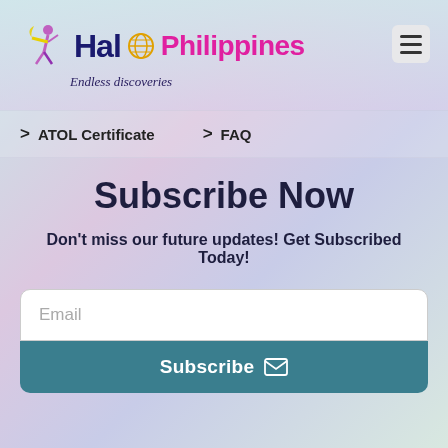Halo Philippines - Endless discoveries
> ATOL Certificate
> FAQ
Subscribe Now
Don't miss our future updates! Get Subscribed Today!
Email
Subscribe